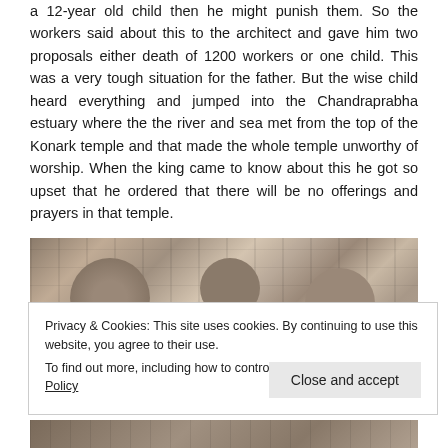a 12-year old child then he might punish them. So the workers said about this to the architect and gave him two proposals either death of 1200 workers or one child. This was a very tough situation for the father. But the wise child heard everything and jumped into the Chandraprabha estuary where the the river and sea met from the top of the Konark temple and that made the whole temple unworthy of worship. When the king came to know about this he got so upset that he ordered that there will be no offerings and prayers in that temple.
[Figure (photo): Stone carvings and architectural details of Konark temple, showing intricate sculpted decorations on the temple facade]
Privacy & Cookies: This site uses cookies. By continuing to use this website, you agree to their use.
To find out more, including how to control cookies, see here: Cookie Policy
Close and accept
[Figure (photo): Partial view of another temple photo at the bottom of the page]